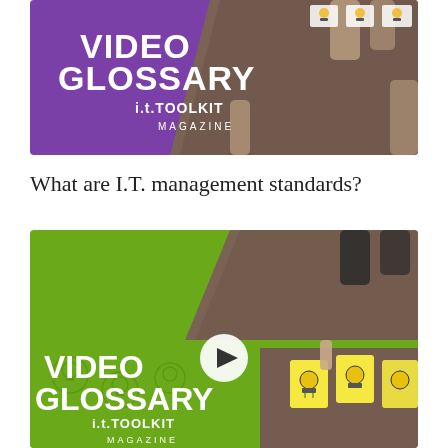[Figure (screenshot): Video Glossary thumbnail with purple background showing hands on wooden table and VIDEO GLOSSARY i.t.TOOLKIT MAGAZINE logo]
What are I.T. management standards?
[Figure (screenshot): Video Glossary thumbnail with green background showing hands and light bulb cards on wooden table, play button overlay, VIDEO GLOSSARY i.t.TOOLKIT MAGAZINE logo]